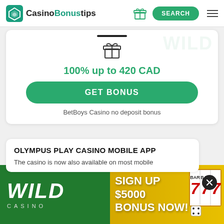CasinoBonustips — SEARCH
[Figure (screenshot): Casino card with gift icon, 100% up to 420 CAD bonus, GET BONUS button, BetBoys Casino no deposit bonus text]
100% up to 420 CAD
GET BONUS
BetBoys Casino no deposit bonus
OLYMPUS PLAY CASINO MOBILE APP
The casino is now also available on most mobile
[Figure (infographic): Wild Casino advertisement banner: WILD CASINO logo on green background, SIGN UP $5000 BONUS NOW! text on yellow background, slot machine showing 777 on right side]